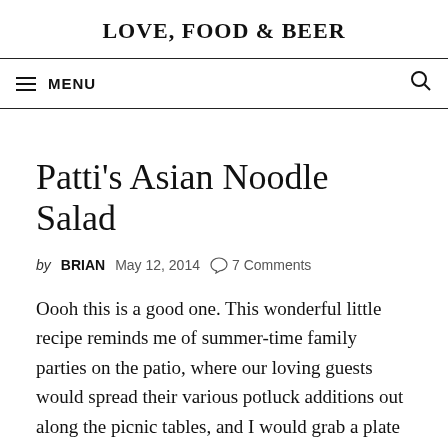LOVE, FOOD & BEER
≡ MENU
Patti's Asian Noodle Salad
by BRIAN  May 12, 2014  ○ 7 Comments
Oooh this is a good one. This wonderful little recipe reminds me of summer-time family parties on the patio, where our loving guests would spread their various potluck additions out along the picnic tables, and I would grab a plate and search out that giant Tupperware bowl that